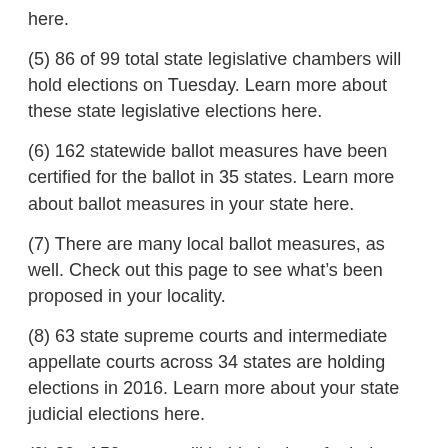here.
(5) 86 of 99 total state legislative chambers will hold elections on Tuesday. Learn more about these state legislative elections here.
(6) 162 statewide ballot measures have been certified for the ballot in 35 states. Learn more about ballot measures in your state here.
(7) There are many local ballot measures, as well. Check out this page to see what’s been proposed in your locality.
(8) 63 state supreme courts and intermediate appellate courts across 34 states are holding elections in 2016. Learn more about your state judicial elections here.
(9) 39 of 50 states will hold elections for judges in